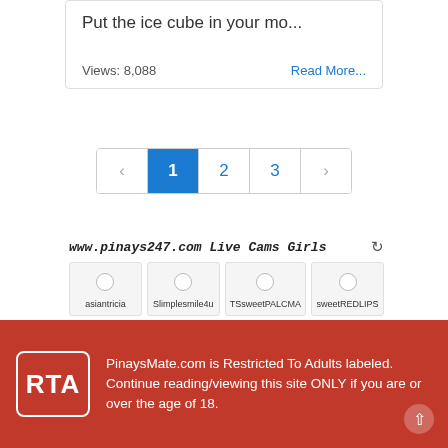Put the ice cube in your mo...
Views: 8,088
Read More...
< 1 2 3 >
www.pinays247.com Live Cams Girls
asiantricia
Slimplesmile4u
TSsweetPALCMA
sweetREDLIPS
RTA PinaysMate.com is Restricted To Adults labeled. Continue reading/viewing this site ONLY if you are or over the age of 18.